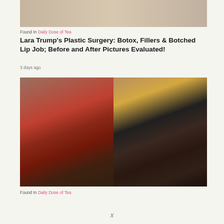[Figure (photo): Photo of blonde woman, before and after comparison, partially visible at top of page]
Found In Daily Dose of Tea
Lara Trump's Plastic Surgery: Botox, Fillers & Botched Lip Job; Before and After Pictures Evaluated!
3 days ago
[Figure (photo): Before and after comparison photos of a Black woman with braids, left photo shows her in a red sweater, right photo shows her at Comic-Con in a black leather top]
Found In Daily Dose of Tea